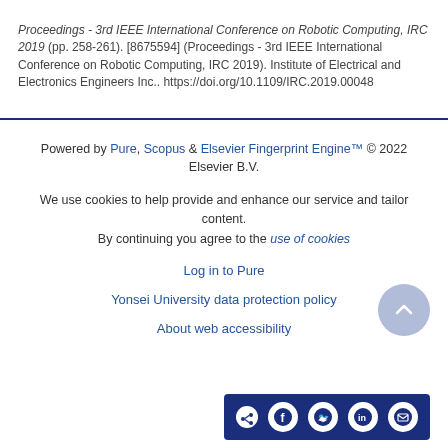Proceedings - 3rd IEEE International Conference on Robotic Computing, IRC 2019 (pp. 258-261). [8675594] (Proceedings - 3rd IEEE International Conference on Robotic Computing, IRC 2019). Institute of Electrical and Electronics Engineers Inc.. https://doi.org/10.1109/IRC.2019.00048
[Figure (other): Social sharing button bar with share, Facebook, Twitter, LinkedIn, and email icons on a dark blue background]
Powered by Pure, Scopus & Elsevier Fingerprint Engine™ © 2022 Elsevier B.V.
We use cookies to help provide and enhance our service and tailor content. By continuing you agree to the use of cookies
Log in to Pure
Yonsei University data protection policy
About web accessibility